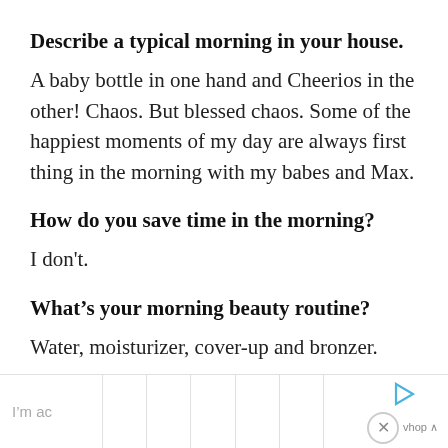Describe a typical morning in your house.
A baby bottle in one hand and Cheerios in the other! Chaos. But blessed chaos. Some of the happiest moments of my day are always first thing in the morning with my babes and Max.
How do you save time in the morning?
I don't.
What’s your morning beauty routine?
Water, moisturizer, cover-up and bronzer.
How do you stay organized?
I’m ac   [ad bar]   ▷   ×   vhop ∧